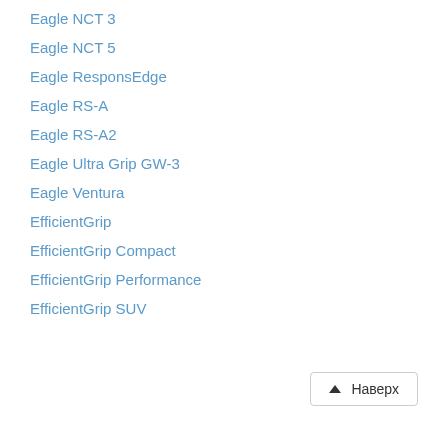Eagle NCT 3
Eagle NCT 5
Eagle ResponsEdge
Eagle RS-A
Eagle RS-A2
Eagle Ultra Grip GW-3
Eagle Ventura
EfficientGrip
EfficientGrip Compact
EfficientGrip Performance
EfficientGrip SUV